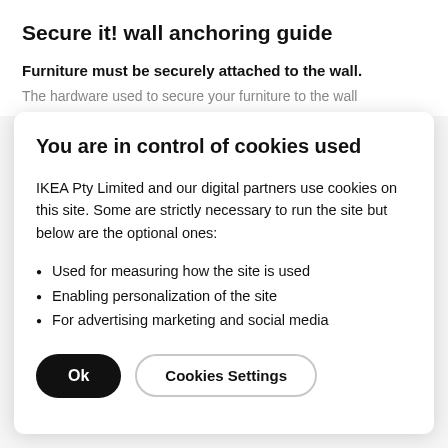Secure it! wall anchoring guide
Furniture must be securely attached to the wall.
The hardware used to secure your furniture to the wall
You are in control of cookies used
IKEA Pty Limited and our digital partners use cookies on this site. Some are strictly necessary to run the site but below are the optional ones:
Used for measuring how the site is used
Enabling personalization of the site
For advertising marketing and social media
Ok | Cookies Settings